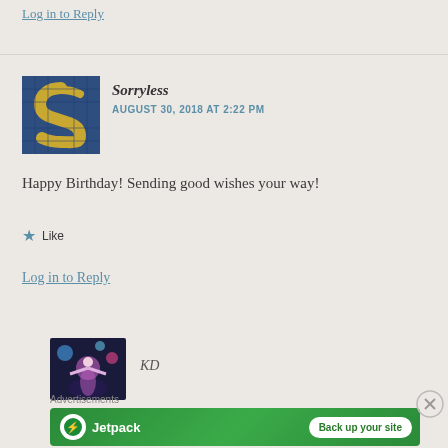Log in to Reply
Sorryless
AUGUST 30, 2018 AT 2:22 PM
[Figure (photo): Avatar image with stylized letter S on blue tile mosaic background]
Happy Birthday! Sending good wishes your way!
Like
Log in to Reply
[Figure (photo): Avatar image of person performing on stage with colorful lights]
KD
Advertisements
[Figure (other): Jetpack advertisement banner with green background — Back up your site]